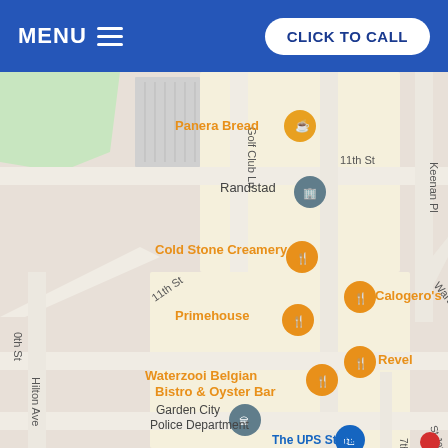MENU  |  CLICK TO CALL
[Figure (map): Google Maps screenshot showing a street map of Garden City area with labeled locations: Panera Bread, Randstad, Cold Stone Creamery, Primehouse, Calogero's, Revel, Waterzooi Belgian Bistro & Oyster Bar, Garden City Police Department, The UPS Store. Streets visible include 11th St, Golf Club Ln, Hilton Ave, Keenan Pl, Warton Pl. Map pins in orange (restaurants/food) and blue/gray (services).]